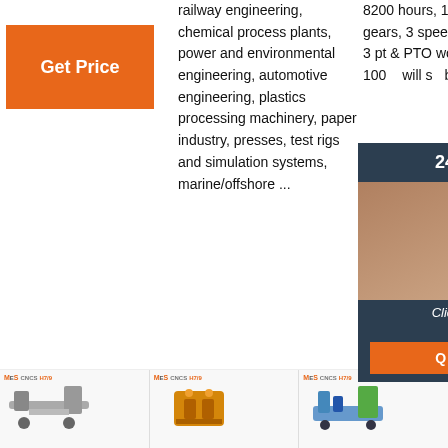[Figure (screenshot): Orange 'Get Price' button in top-left area]
railway engineering, chemical process plants, power and environmental engineering, automotive engineering, plastics processing machinery, paper industry, presses, test rigs and simulation systems, marine/offshore ...
8200 hours, 180 hp, 18 gears, 3 speed power shift, 3 pt & PTO work good, big 1000 will sell bidding
[Figure (screenshot): 24/7 Online chat widget overlay with agent photo, 'Click here for free chat!' text, and orange QUOTATION button]
[Figure (screenshot): Orange 'Get Price' button (partially visible on right)]
[Figure (screenshot): Orange 'Get Price' button below center text]
[Figure (screenshot): TOP navigation button with orange dotted arrow and 'TOP' text in orange]
[Figure (screenshot): Three product logo thumbnails at bottom with MECS/CNCS H7/9 branding and small machinery images]